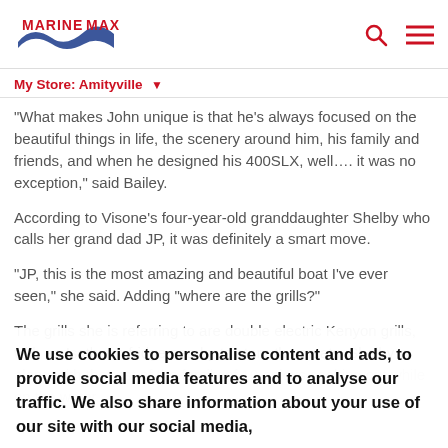MarineMax
My Store: Amityville
“What makes John unique is that he’s always focused on the beautiful things in life, the scenery around him, his family and friends, and when he designed his 400SLX, well…. it was no exception,” said Bailey.
According to Visone’s four-year-old granddaughter Shelby who calls her grand dad JP, it was definitely a smart move.
“JP, this is the most amazing and beautiful boat I’ve ever seen,” she said. Adding “where are the grills?”
The grills she is referring to are double electric Kenyon grills, with an Isotherm fridge nearby to store the meats. Shelby along with the rest of the family of 10 enjoys cooking out while on the water.
We use cookies to personalise content and ads, to provide social media features and to analyse our traffic. We also share information about your use of our site with our social media,